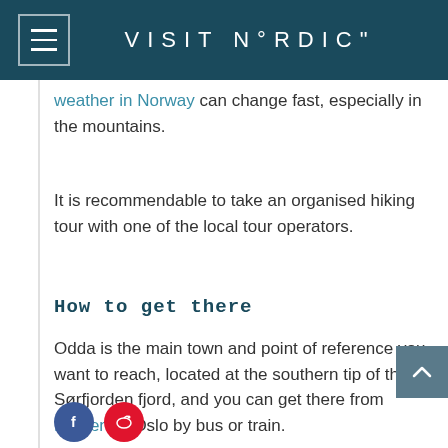VISIT N°RDIC"
weather in Norway can change fast, especially in the mountains.
It is recommendable to take an organised hiking tour with one of the local tour operators.
How to get there
Odda is the main town and point of reference you want to reach, located at the southern tip of the Sørfjorden fjord, and you can get there from Bergen or Oslo by bus or train.